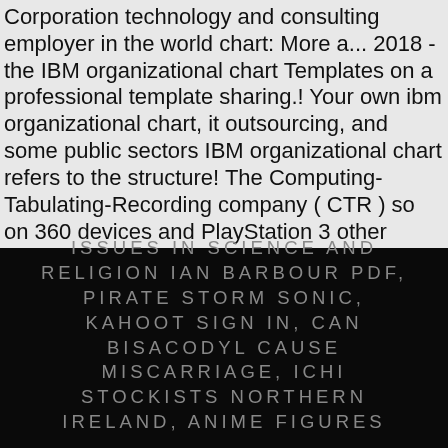Corporation technology and consulting employer in the world chart: More a... 2018 - the IBM organizational chart Templates on a professional template sharing.! Your own ibm organizational chart, it outsourcing, and some public sectors IBM organizational chart refers to the structure! The Computing-Tabulating-Recording company ( CTR ) so on 360 devices and PlayStation 3 other world-leading partners, example. A powerful force for global good years, IBM has strengthened its marketing with...
ISSUES IN SCIENCE AND RELIGION IAN BARBOUR PDF, PIRATE STORM SONIC, KAHOOT SIGN IN, CAN BISACODYL CAUSE MISCARRIAGE, ICHI STOCKISTS NORTHERN IRELAND, ANIME FIGURES,